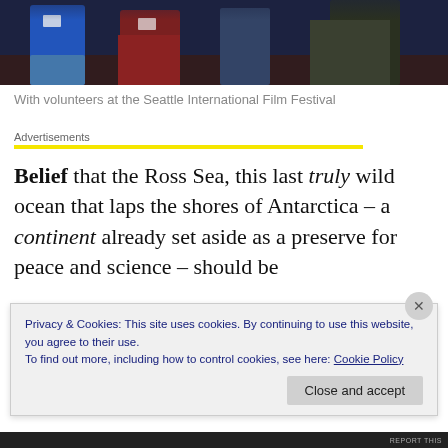[Figure (photo): People standing together at what appears to be the Seattle International Film Festival, wearing lanyards/badges. Only lower half of bodies visible against a dark background.]
With volunteers at the Seattle International Film Festival
Advertisements
Belief that the Ross Sea, this last truly wild ocean that laps the shores of Antarctica – a continent already set aside as a preserve for peace and science – should be
Privacy & Cookies: This site uses cookies. By continuing to use this website, you agree to their use.
To find out more, including how to control cookies, see here: Cookie Policy